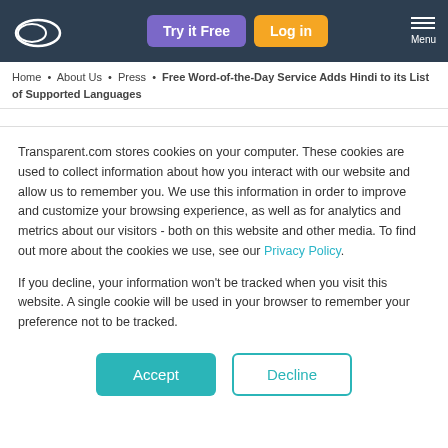Try it Free | Log in | Menu
Home • About Us • Press • Free Word-of-the-Day Service Adds Hindi to its List of Supported Languages
FOR IMMEDIATE RELEASE
Transparent.com stores cookies on your computer. These cookies are used to collect information about how you interact with our website and allow us to remember you. We use this information in order to improve and customize your browsing experience, as well as for analytics and metrics about our visitors - both on this website and other media. To find out more about the cookies we use, see our Privacy Policy.
If you decline, your information won't be tracked when you visit this website. A single cookie will be used in your browser to remember your preference not to be tracked.
Accept | Decline